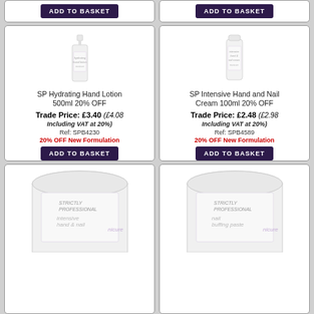[Figure (photo): Top partial view of two product cards each with an ADD TO BASKET button]
[Figure (photo): SP Hydrating Hand Lotion 500ml pump bottle, white]
SP Hydrating Hand Lotion 500ml 20% OFF
Trade Price: £3.40 (£4.08 Including VAT at 20%)
Ref: SPB4230
20% OFF New Formulation
[Figure (photo): SP Intensive Hand and Nail Cream 100ml tube, white]
SP Intensive Hand and Nail Cream 100ml 20% OFF
Trade Price: £2.48 (£2.98 Including VAT at 20%)
Ref: SPB4589
20% OFF New Formulation
[Figure (photo): Strictly Professional Intensive Hand and Nail product - large white tub, partially visible]
[Figure (photo): Strictly Professional Nail Buffing Paste product - large white tub, partially visible]